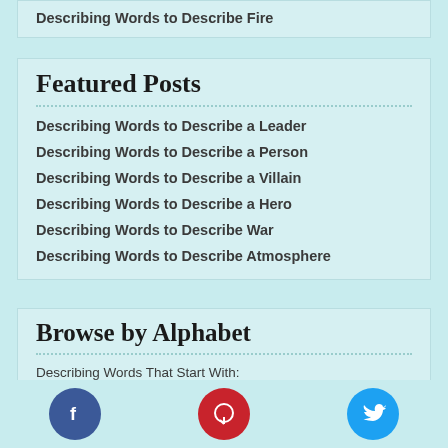Describing Words to Describe Fire
Featured Posts
Describing Words to Describe a Leader
Describing Words to Describe a Person
Describing Words to Describe a Villain
Describing Words to Describe a Hero
Describing Words to Describe War
Describing Words to Describe Atmosphere
Browse by Alphabet
Describing Words That Start With:
A | B | C | D | E | F | G | H | I
J | K | L | M | N | O | P | Q | R